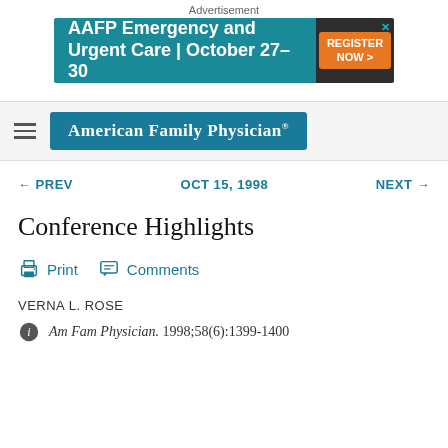Advertisement
[Figure (other): AAFP Emergency and Urgent Care advertisement banner with teal background, text 'AAFP Emergency and Urgent Care | October 27-30' and orange Register Now button]
[Figure (logo): American Family Physician logo on teal/dark blue background with hamburger menu icon]
← PREV   OCT 15, 1998   NEXT →
Conference Highlights
Print   Comments
VERNA L. ROSE
Am Fam Physician. 1998;58(6):1399-1400